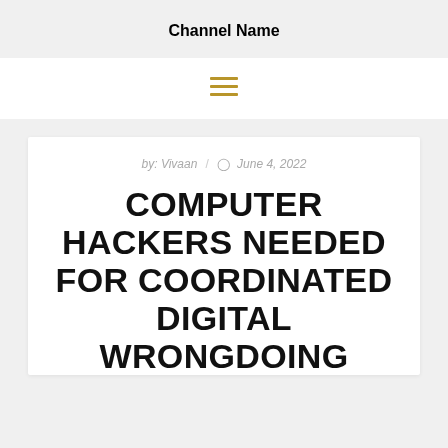Channel Name
[Figure (other): Hamburger menu icon with three horizontal gold/tan lines]
by: Vivaan / June 4, 2022
COMPUTER HACKERS NEEDED FOR COORDINATED DIGITAL WRONGDOING